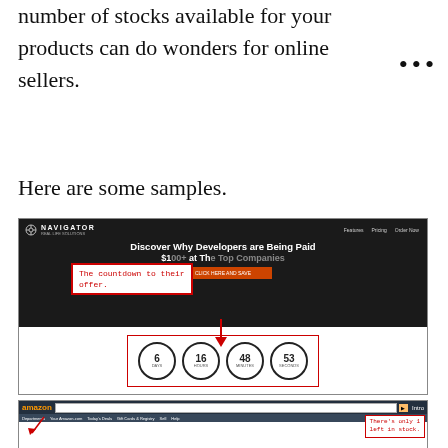number of stocks available for your products can do wonders for online sellers.
Here are some samples.
[Figure (screenshot): Navigator website screenshot showing a countdown timer with circles displaying 6 days, 16 hours, 48 minutes, 53 seconds, annotated with red box saying 'The countdown to their offer.']
[Figure (screenshot): Amazon product page screenshot annotated with red box saying 'There's only 1 left in stock.']